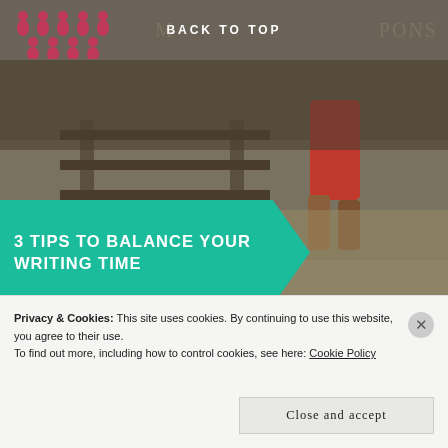BACK TO TOP
[Figure (photo): Person walking on railway tracks, wearing red pants and brown boots, with teal banner overlay reading '3 TIPS TO BALANCE YOUR WRITING TIME']
[Figure (illustration): Card on checkered background with text '4 STEPS TO CREATE GREAT CHARACTER FLAWS' in large red spaced letters]
Privacy & Cookies: This site uses cookies. By continuing to use this website, you agree to their use.
To find out more, including how to control cookies, see here: Cookie Policy
Close and accept